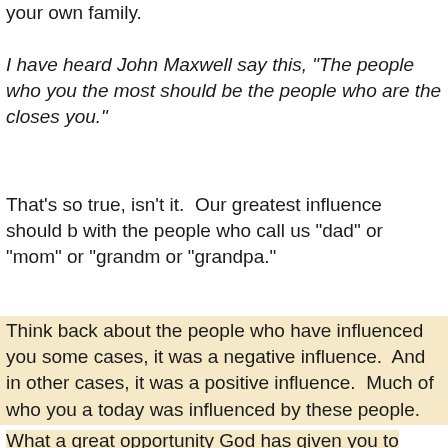your own family.
I have heard John Maxwell say this, "The people who you the most should be the people who are the closest you."
That's so true, isn't it.  Our greatest influence should b with the people who call us "dad" or "mom" or "grandm or "grandpa."
Think back about the people who have influenced you some cases, it was a negative influence.  And in other cases, it was a positive influence.  Much of who you a today was influenced by these people.
What a great opportunity God has given you to influen the next generation.  Grab hold of it.  Begin to invest i